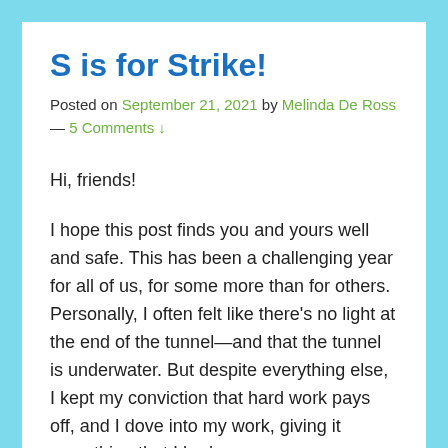S is for Strike!
Posted on September 21, 2021 by Melinda De Ross — 5 Comments ↓
Hi, friends!
I hope this post finds you and yours well and safe. This has been a challenging year for all of us, for some more than for others. Personally, I often felt like there’s no light at the end of the tunnel—and that the tunnel is underwater. But despite everything else, I kept my conviction that hard work pays off, and I dove into my work, giving it everything that I had.